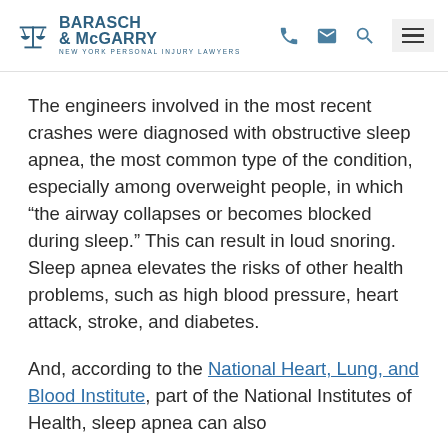BARASCH & McGARRY — NEW YORK PERSONAL INJURY LAWYERS
The engineers involved in the most recent crashes were diagnosed with obstructive sleep apnea, the most common type of the condition, especially among overweight people, in which “the airway collapses or becomes blocked during sleep.” This can result in loud snoring. Sleep apnea elevates the risks of other health problems, such as high blood pressure, heart attack, stroke, and diabetes.
And, according to the National Heart, Lung, and Blood Institute, part of the National Institutes of Health, sleep apnea can also